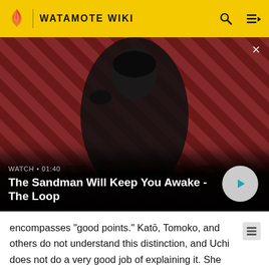WATAMOTE WIKI
[Figure (screenshot): Video thumbnail showing a dark-clad figure with a crow on their shoulder against a red diagonal striped background, titled 'The Sandman Will Keep You Awake - The Loop', WATCH • 01:40]
encompasses "good points." Katō, Tomoko, and others do not understand this distinction, and Uchi does not do a very good job of explaining it. She finally screams that Tomoko does not only make her feel "disgusted (嫌悪感)," Tomoko also makes her "feel good! (気持ちいい感じ